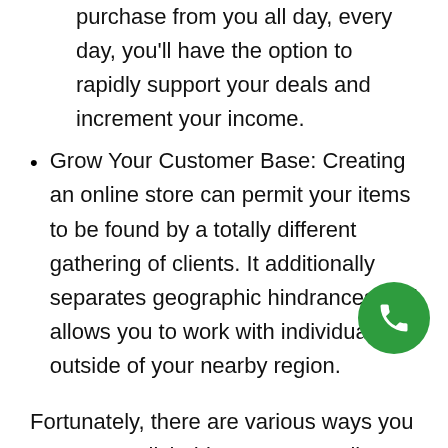purchase from you all day, every day, you'll have the option to rapidly support your deals and increment your income.
Grow Your Customer Base: Creating an online store can permit your items to be found by a totally different gathering of clients. It additionally separates geographic hindrances and allows you to work with individuals outside of your nearby region.
Fortunately, there are various ways you can accomplish this. Here are online business promoting tips to kick you off.
Fabricate Brand Awareness
Brand mindfulness has consistently been